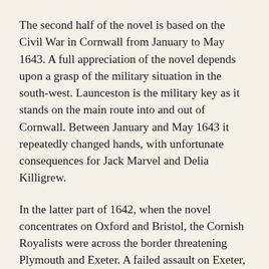The second half of the novel is based on the Civil War in Cornwall from January to May 1643. A full appreciation of the novel depends upon a grasp of the military situation in the south-west. Launceston is the military key as it stands on the main route into and out of Cornwall. Between January and May 1643 it repeatedly changed hands, with unfortunate consequences for Jack Marvel and Delia Killigrew.
In the latter part of 1642, when the novel concentrates on Oxford and Bristol, the Cornish Royalists were across the border threatening Plymouth and Exeter. A failed assault on Exeter, the key to the whole south-west, on 1 January, 1643, results in the retreat of Sir Ralph Hopton's forces to Launceston. With the arrival of Parliamentary forces under the Earl of Stamford on 6 January and a body of Parliamentarians at Plymouth under Colonel William Ruthven, Hopton had no choice...